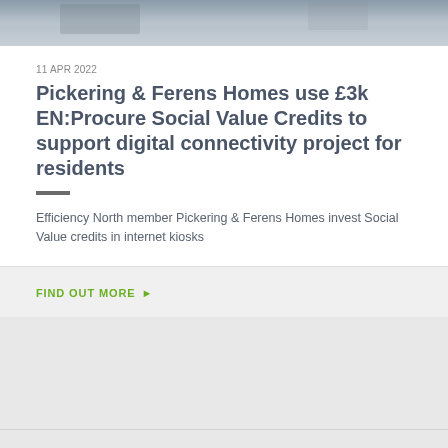[Figure (photo): Photograph of people, cropped at top of card — only bottom portion visible as a strip]
11 APR 2022
Pickering & Ferens Homes use £3k EN:Procure Social Value Credits to support digital connectivity project for residents
Efficiency North member Pickering & Ferens Homes invest Social Value credits in internet kiosks
FIND OUT MORE ▶
Efficiency North